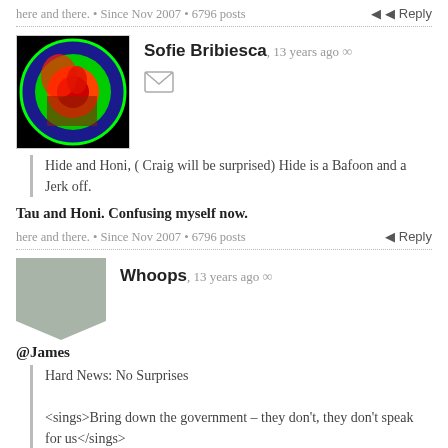here and there. • Since Nov 2007 • 6796 posts
Reply
Sofie Bribiesca, 13 years ago ∞
Hide and Honi, ( Craig will be surprised) Hide is a Bafoon and a Jerk off.
Tau and Honi. Confusing myself now.
here and there. • Since Nov 2007 • 6796 posts
Reply
Whoops, 13 years ago ∞
@James
Hard News: No Surprises
<sings>Bring down the government – they don't, they don't speak for us</sings>